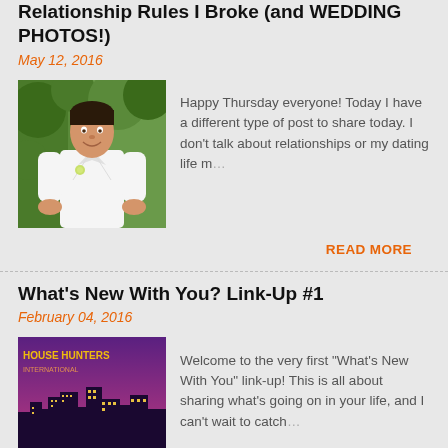Relationship Rules I Broke (and WEDDING PHOTOS!)
May 12, 2016
[Figure (photo): Man in white shirt smiling outdoors with greenery background]
Happy Thursday everyone! Today I have a different type of post to share today. I don't talk about relationships or my dating life m…
READ MORE
What's New With You? Link-Up #1
February 04, 2016
[Figure (photo): House Hunters TV show promotional image with city skyline at sunset/dusk with purple sky]
Welcome to the very first "What's New With You" link-up! This is all about sharing what's going on in your life, and I can't wait to catch …
READ MORE